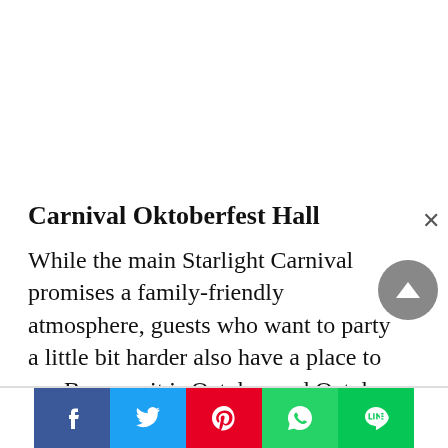Carnival Oktoberfest Hall
While the main Starlight Carnival promises a family-friendly atmosphere, guests who want to party a little bit harder also have a place to go. Because it is October and October is the time for Oktoberfest, the annual German funfair celebrates all things beer originating in Munich. Resorts World Genting will be presenting up its own version of a Bavarian festival at the Oktoberfest Hall, held at a separate area of the Carnival with its own set of food, drink and entertainment offerings.
[Figure (other): Social media share buttons: Facebook, Twitter, Pinterest, WhatsApp, LINE]